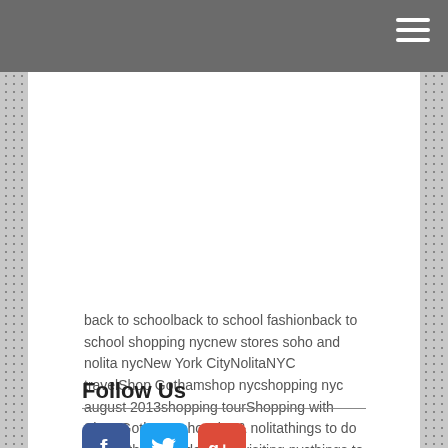back to schoolback to school fashionback to school shopping nycnew stores soho and nolita nycNew York CityNolitaNYC travelShop Gothamshop nycshopping nyc august 2013shopping tourShopping with Shop GothamSohosoho & nolitathings to do in NYCthings to do when visiting nycthings to do with mom in nyc
Follow Us
[Figure (logo): Facebook, Twitter, and Google+ social media icons]